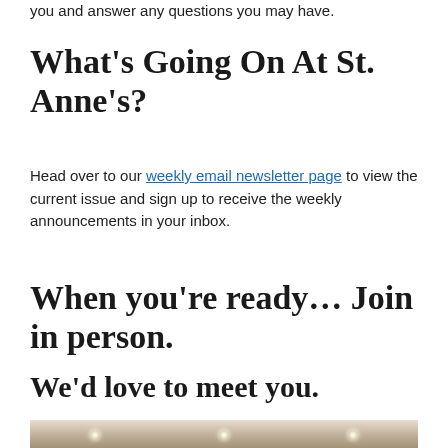you and answer any questions you may have.
What’s Going On At St. Anne’s?
Head over to our weekly email newsletter page to view the current issue and sign up to receive the weekly announcements in your inbox.
When you’re ready… Join in person.
We’d love to meet you.
[Figure (photo): Interior ceiling of a church or meeting hall with recessed lighting]